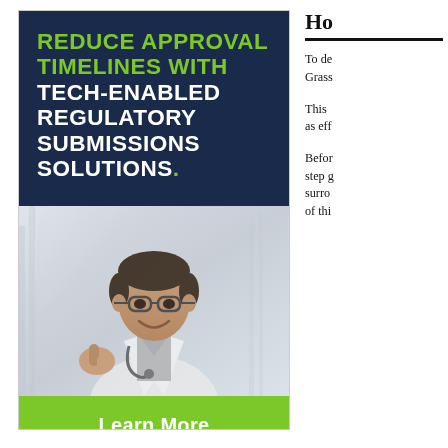[Figure (illustration): Advertisement banner with dark navy background showing text: REDUCE APPROVAL TIMELINES WITH TECH-ENABLED REGULATORY SUBMISSIONS SOLUTIONS. Below is a photo of a smiling doctor with glasses giving thumbs up. At the bottom a green Learn More button.]
Ho
To de Grass
This as eff
Befor step g surro of thi